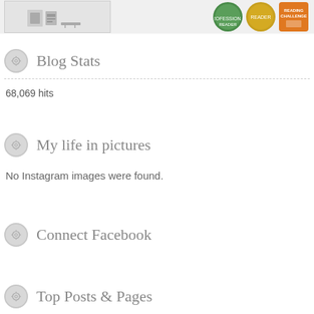[Figure (screenshot): Top strip with a book/blog image on the left and badge icons (green circle, yellow circle, orange rectangle) on the right]
Blog Stats
68,069 hits
My life in pictures
No Instagram images were found.
Connect Facebook
Top Posts & Pages